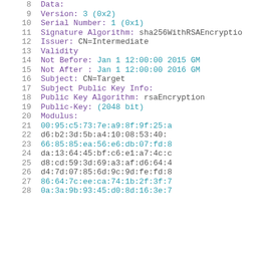8     Data:
9         Version: 3 (0x2)
10        Serial Number: 1 (0x1)
11    Signature Algorithm: sha256WithRSAEncryption
12        Issuer: CN=Intermediate
13        Validity
14            Not Before: Jan  1 12:00:00 2015 GM
15            Not After : Jan  1 12:00:00 2016 GM
16        Subject: CN=Target
17        Subject Public Key Info:
18            Public Key Algorithm: rsaEncryption
19                Public-Key: (2048 bit)
20                Modulus:
21                    00:95:c5:73:7e:a9:8f:9f:25:a
22                    d6:b2:3d:5b:a4:10:08:53:40:
23                    66:85:85:ea:56:e6:db:07:fd:8
24                    da:13:64:45:bf:c6:e1:a7:4c:c
25                    d8:cd:59:3d:69:a3:af:d6:64:4
26                    d4:7d:07:85:6d:9c:9d:fe:fd:8
27                    86:64:7c:ee:ca:74:1b:2f:3f:7
28                    0a:3a:9b:93:45:d0:8d:16:3e:7